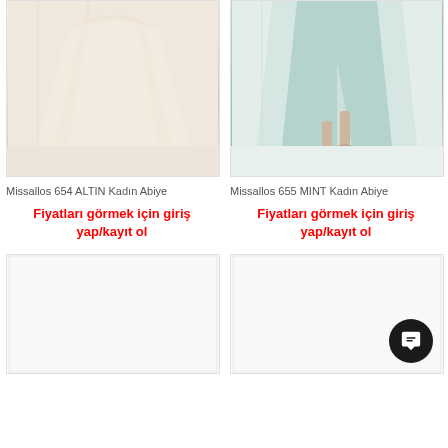[Figure (photo): Cream/gold colored women's evening gown (abiye) product photo, upper portion showing flowing fabric]
[Figure (photo): Mint green colored women's evening gown (abiye) product photo, showing full length dress with slit]
Missallos 654 ALTIN Kadın Abiye
Missallos 655 MINT Kadın Abiye
Fiyatları görmek için giriş yap/kayıt ol
Fiyatları görmek için giriş yap/kayıt ol
[Figure (photo): Empty product image placeholder (bottom left)]
[Figure (photo): Empty product image placeholder (bottom right) with chat button overlay]